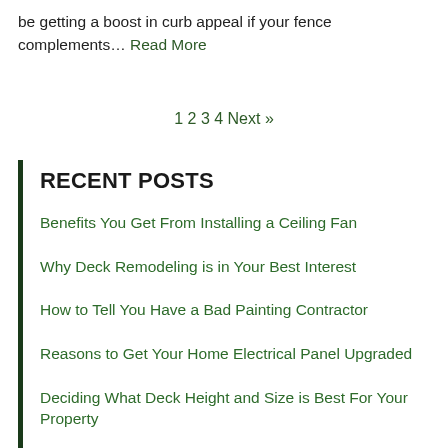be getting a boost in curb appeal if your fence complements… Read More
1 2 3 4 Next »
RECENT POSTS
Benefits You Get From Installing a Ceiling Fan
Why Deck Remodeling is in Your Best Interest
How to Tell You Have a Bad Painting Contractor
Reasons to Get Your Home Electrical Panel Upgraded
Deciding What Deck Height and Size is Best For Your Property
CATEGORIES